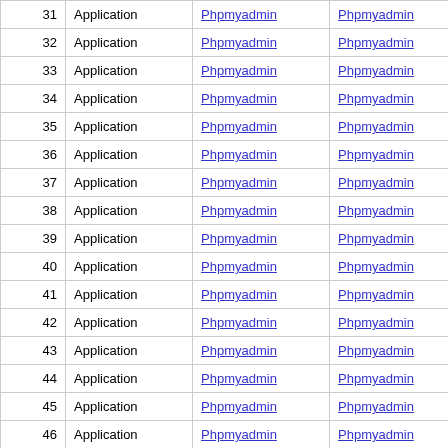| # | Type | Vendor | Product | Version |
| --- | --- | --- | --- | --- |
| 31 | Application | Phpmyadmin | Phpmyadmin | 4.0.10... |
| 32 | Application | Phpmyadmin | Phpmyadmin | 4.4.0 |
| 33 | Application | Phpmyadmin | Phpmyadmin | 4.4.1 |
| 34 | Application | Phpmyadmin | Phpmyadmin | 4.4.1... |
| 35 | Application | Phpmyadmin | Phpmyadmin | 4.4.2 |
| 36 | Application | Phpmyadmin | Phpmyadmin | 4.4.3 |
| 37 | Application | Phpmyadmin | Phpmyadmin | 4.4.4 |
| 38 | Application | Phpmyadmin | Phpmyadmin | 4.4.5 |
| 39 | Application | Phpmyadmin | Phpmyadmin | 4.4.6 |
| 40 | Application | Phpmyadmin | Phpmyadmin | 4.4.6... |
| 41 | Application | Phpmyadmin | Phpmyadmin | 4.4.7 |
| 42 | Application | Phpmyadmin | Phpmyadmin | 4.4.8 |
| 43 | Application | Phpmyadmin | Phpmyadmin | 4.4.9 |
| 44 | Application | Phpmyadmin | Phpmyadmin | 4.4.10 |
| 45 | Application | Phpmyadmin | Phpmyadmin | 4.4.11 |
| 46 | Application | Phpmyadmin | Phpmyadmin | 4.4.12 |
| 47 | Application | Phpmyadmin | Phpmyadmin | 4.4.13 |
| 48 | Application | Phpmyadmin | Phpmyadmin | 4.4.13 |
| 49 | Application | Phpmyadmin | Phpmyadmin | 4.4.1... |